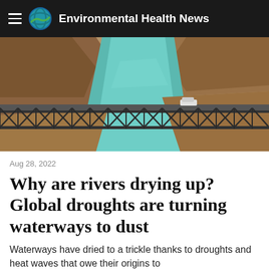Environmental Health News
[Figure (photo): Aerial view of a low water level reservoir with a steel bridge crossing a narrow turquoise river channel, surrounded by dry brown rocky terrain. A vehicle is visible on the bridge.]
Aug 28, 2022
Why are rivers drying up? Global droughts are turning waterways to dust
Waterways have dried to a trickle thanks to droughts and heat waves that owe their origins to